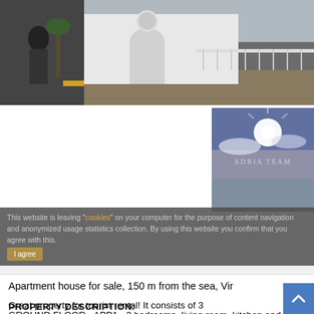[Figure (photo): Exterior photo of a white Mediterranean-style apartment house with arched doorway, balcony railing, and palm trees]
[Figure (photo): Thumbnail photo of a sunny sky with sun glare over water, with 'ADRIA TEAM' watermark text]
Apartment house for sale, 150 m from the sea, Vir
Great property for tourist rental! It consists of 3 apartments and a landscaped yard.
This website is leaving "cookies" on your computer for the purpose of content navigation and anonymized usage statistics collection. By using this website you confirm that you agree with this.
PROPERTY DESCRIPTION:
GROUND FLOOR - APP1 - 2 bedrooms, living room, kitchen and dining room, storage room, hallway, bathroom and toilet, and large terrace - 68.95 m2
FIRST FLOOR - APP2 - 3 bedrooms, kitchen and dining room, bathroom and large terrace - 75.70 m2